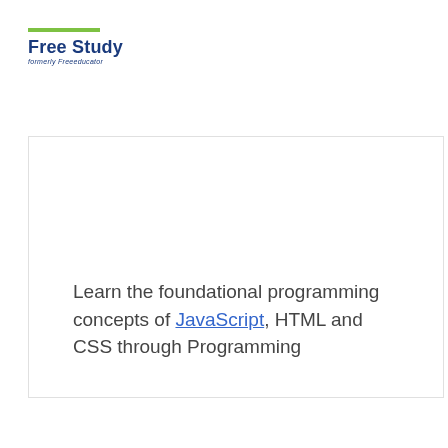Free Study — formerly Freeeducator
Learn the foundational programming concepts of JavaScript, HTML and CSS through Programming